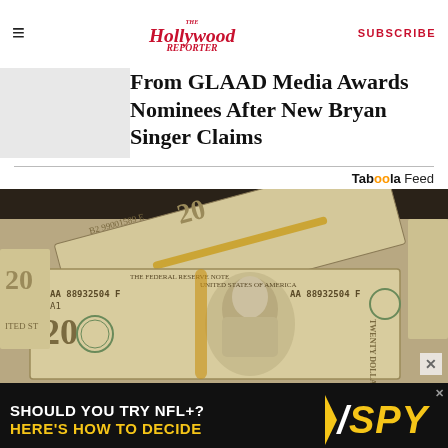The Hollywood Reporter | SUBSCRIBE
From GLAAD Media Awards Nominees After New Bryan Singer Claims
[Figure (photo): Stack of bundled US twenty dollar bills photographed in sepia/monochrome tone]
[Figure (other): Advertisement banner: SHOULD YOU TRY NFL+? HERE'S HOW TO DECIDE - SPY]